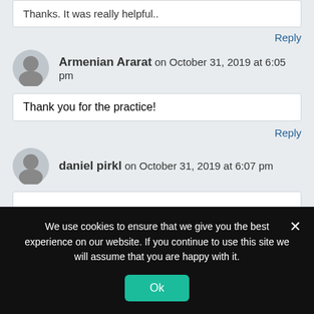Thanks. It was really helpful..
Reply
Armenian Ararat on October 31, 2019 at 6:05 pm
Thank you for the practice!
Reply
daniel pirkl on October 31, 2019 at 6:07 pm
We use cookies to ensure that we give you the best experience on our website. If you continue to use this site we will assume that you are happy with it.